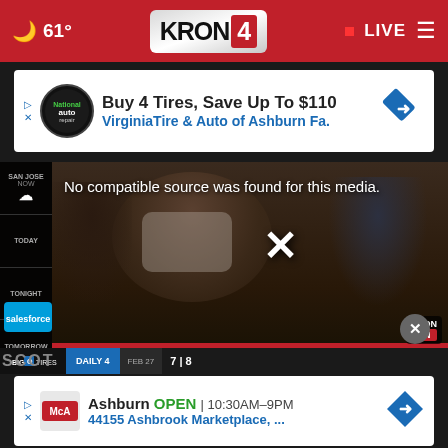☁ 61° KRON 4 • LIVE
[Figure (screenshot): Advertisement banner: Buy 4 Tires, Save Up To $110 - VirginiaTire & Auto of Ashburn Fa.]
[Figure (screenshot): KRON4 news video player showing a masked person in a courtroom setting. Overlay text: No compatible source was found for this media. Large X icon. Lower chyron: HEARING FOR PETERSON'S NEW TRIAL RESUMED TODAY - REDWOOD CITY]
[Figure (screenshot): Bottom advertisement: Ashburn OPEN 10:30AM-9PM, 44155 Ashbrook Marketplace, ...]
No compatible source was found for this media.
HEARING FOR PETERSON'S NEW TRIAL RESUMED TODAY REDWOOD CITY
DAILY 4   FEB 27   7 | 8
Ashburn  OPEN  10:30AM–9PM  44155 Ashbrook Marketplace, ...
SCOT